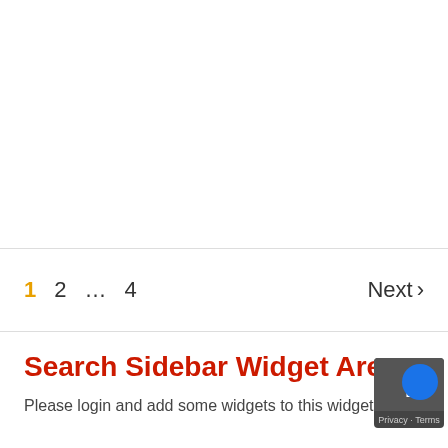1  2  …  4    Next >
Search Sidebar Widget Area
Please login and add some widgets to this widget area.